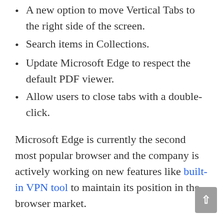A new option to move Vertical Tabs to the right side of the screen.
Search items in Collections.
Update Microsoft Edge to respect the default PDF viewer.
Allow users to close tabs with a double-click.
Microsoft Edge is currently the second most popular browser and the company is actively working on new features like built-in VPN tool to maintain its position in the browser market.
The post Microsoft could finally be fixing Edge browser's large context menus on Windows appeared first on Windows Latest